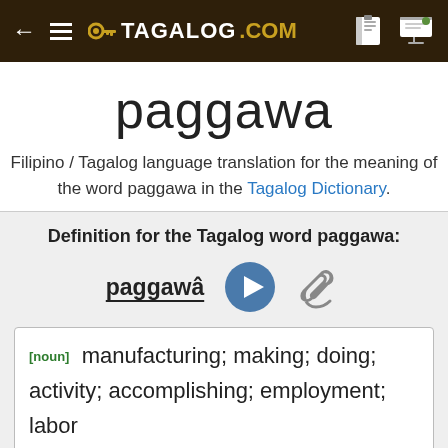TAGALOG.COM
paggawa
Filipino / Tagalog language translation for the meaning of the word paggawa in the Tagalog Dictionary.
Definition for the Tagalog word paggawa:
paggawâ
[noun]  manufacturing; making; doing; activity; accomplishing; employment; labor
Root: gawa